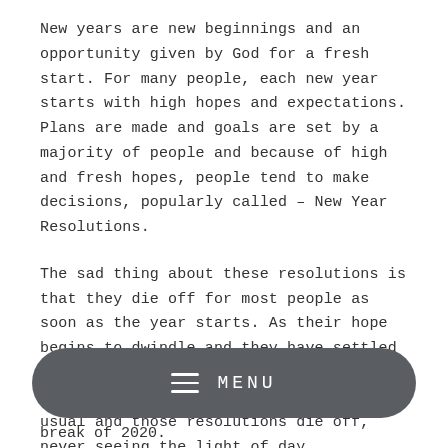New years are new beginnings and an opportunity given by God for a fresh start. For many people, each new year starts with high hopes and expectations. Plans are made and goals are set by a majority of people and because of high and fresh hopes, people tend to make decisions, popularly called – New Year Resolutions.
The sad thing about these resolutions is that they die off for most people as soon as the year starts. As their hope begins to dwindle and they have settled down into the new year and its hustles and bustles, it becomes business as usual and those resolutions die off, never seeing the light of day.
[Figure (other): Dark grey pill-shaped menu navigation bar with hamburger icon and MENU text in white]
break of 2020.